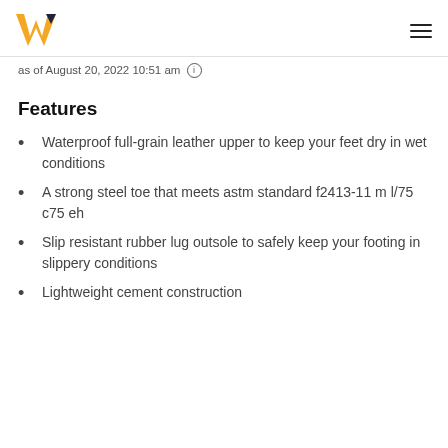W logo and hamburger menu
as of August 20, 2022 10:51 am ℹ
Features
Waterproof full-grain leather upper to keep your feet dry in wet conditions
A strong steel toe that meets astm standard f2413-11 m l/75 c75 eh
Slip resistant rubber lug outsole to safely keep your footing in slippery conditions
Lightweight cement construction